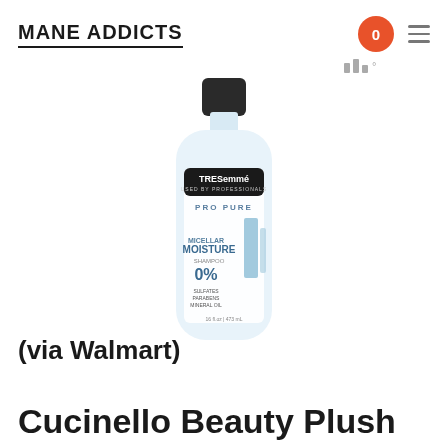MANE ADDICTS
[Figure (photo): TRESemmé Pro Pure Micellar Moisture Shampoo bottle with black cap, clear bottle, 0% sulfates, parabens, mineral oil label]
(via Walmart)
Cucinello Beauty Plush